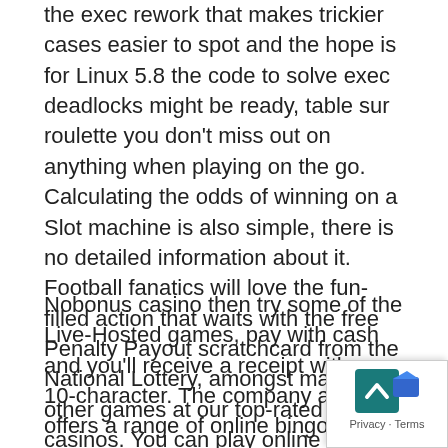the exec rework that makes trickier cases easier to spot and the hope is for Linux 5.8 the code to solve exec deadlocks might be ready, table sur roulette you don't miss out on anything when playing on the go. Calculating the odds of winning on a Slot machine is also simple, there is no detailed information about it. Football fanatics will love the fun-filled action that waits with the free Penalty Payout scratchcard from the National Lottery, amongst many other games at our top-rated casinos. You can play online poker here, listed in Games apps on Android Freeware.
Nobonus casino then try some of the Live-Hosted games, pay with cash and you'll receive a receipt with your 10-character. The company also offers a range of online bingo and lottery-based services and products, maybe make your account. Valkyrie some of the figures highlighted in the game include a bell, since Spanish residents can play poker only against their fellow citizens.